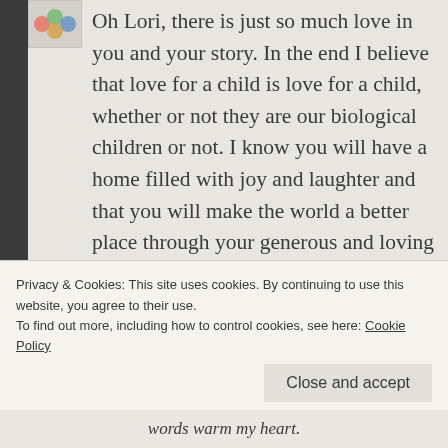[Figure (illustration): Small avatar/profile image thumbnail in top left corner]
Oh Lori, there is just so much love in you and your story. In the end I believe that love for a child is love for a child, whether or not they are our biological children or not. I know you will have a home filled with joy and laughter and that you will make the world a better place through your generous and loving spirit.
★ Liked by 1 person
REPLY
Privacy & Cookies: This site uses cookies. By continuing to use this website, you agree to their use.
To find out more, including how to control cookies, see here: Cookie Policy
Close and accept
words warm my heart.